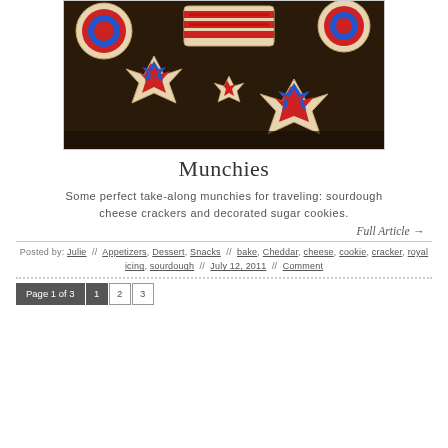[Figure (photo): Close-up photo of decorated sugar cookies in star shapes and round shapes, decorated with red, white, and blue royal icing patterns on a dark background.]
Munchies
Some perfect take-along munchies for traveling: sourdough cheese crackers and decorated sugar cookies.
Full Article →
Posted by: Julie // Appetizers, Dessert, Snacks // bake, Cheddar, cheese, cookie, cracker, royal icing, sourdough // July 12, 2011 // Comment
Page 1 of 3   1   2   3